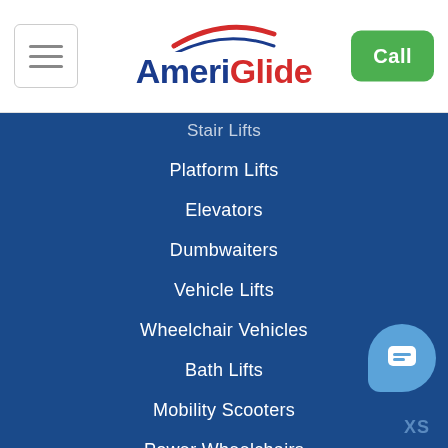[Figure (logo): AmeriGlide logo with red white and blue swoosh above text]
Stair Lifts
Platform Lifts
Elevators
Dumbwaiters
Vehicle Lifts
Wheelchair Vehicles
Bath Lifts
Mobility Scooters
Power Wheelchairs
Pool Lifts
Walk-In Tubs